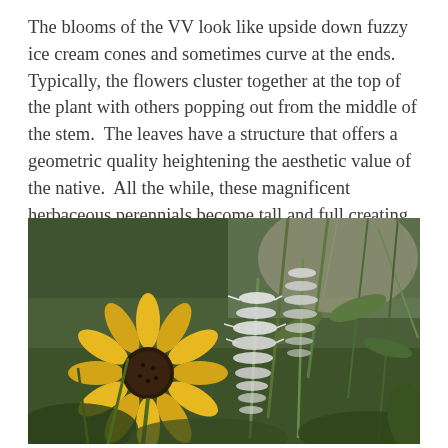The blooms of the VV look like upside down fuzzy ice cream cones and sometimes curve at the ends. Typically, the flowers cluster together at the top of the plant with others popping out from the middle of the stem. The leaves have a structure that offers a geometric quality heightening the aesthetic value of the native. All the while, these magnificent herbaceous perennials become tall and full creating visual anchors for a planted bed or against the wall or corner of a house.
[Figure (photo): A garden photo showing a bright yellow black-eyed Susan flower on the left with a dark brown center, next to white fuzzy spike-shaped blooms (Veronicastrum virginicum / Culver's root) in the center and right, with green foliage and a blurred background of grass and garden plants.]